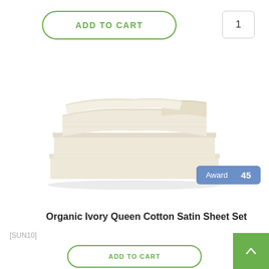ADD TO CART
1
[Figure (photo): A neatly folded stack of ivory/cream cotton satin sheets set on a white background]
Award 45
Organic Ivory Queen Cotton Satin Sheet Set
[SUN10]
AUD 199.00